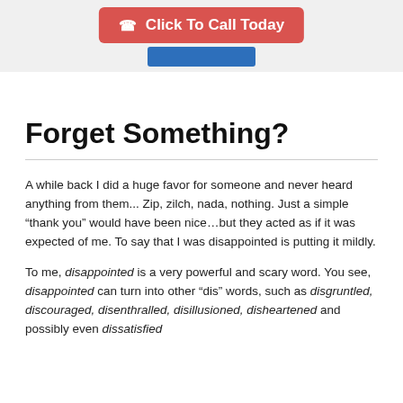[Figure (other): Red 'Click To Call Today' button with phone icon, positioned above a blue bar, all within a light gray top banner area.]
Forget Something?
A while back I did a huge favor for someone and never heard anything from them... Zip, zilch, nada, nothing. Just a simple “thank you” would have been nice…but they acted as if it was expected of me. To say that I was disappointed is putting it mildly.
To me, disappointed is a very powerful and scary word. You see, disappointed can turn into other “dis” words, such as disgruntled, discouraged, disenthralled, disillusioned, disheartened and possibly even dissatisfied